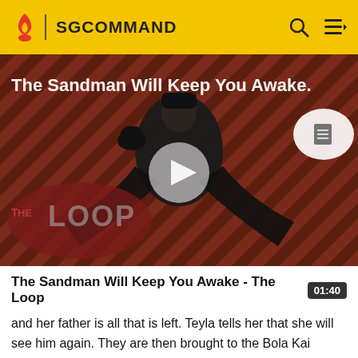SGCOMMAND
[Figure (screenshot): Video thumbnail for 'The Sandman Will Keep You Awake - The Loop' showing a dark-cloaked figure against a red diagonal striped background with THE LOOP logo watermark and a play button overlay. Title text 'The Sandman Will Keep You Awake.' appears in white at the top left.]
The Sandman Will Keep You Awake - The Loop
and her father is all that is left. Teyla tells her that she will see him again. They are then brought to the Bola Kai leader, Omal, who begins to interrogate them. Teyla accuses the Bola Kai of killing her people. He accuses Oma...